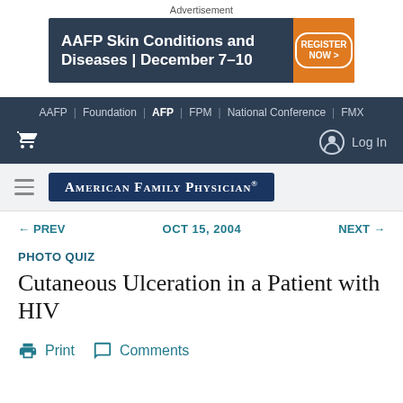Advertisement
[Figure (illustration): AAFP Skin Conditions and Diseases | December 7-10 advertisement banner with Register Now button]
AAFP | Foundation | AFP | FPM | National Conference | FMX
[Figure (logo): American Family Physician logo in dark blue rectangle]
← PREV   OCT 15, 2004   NEXT →
PHOTO QUIZ
Cutaneous Ulceration in a Patient with HIV
Print   Comments